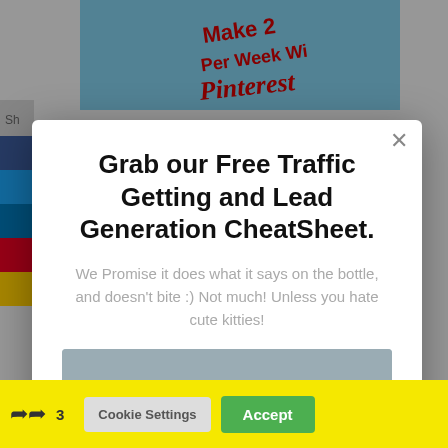[Figure (screenshot): Background website screenshot showing Pinterest book cover at top and social sharing bar on left]
Grab our Free Traffic Getting and Lead Generation CheatSheet.
We Promise it does what it says on the bottle, and doesn't bite :) Not much! Unless you hate cute kitties!
[Figure (photo): Three cats wearing cute knitted hats/hoods - one blue, one black, one teal striped]
Cookie Settings   Accept